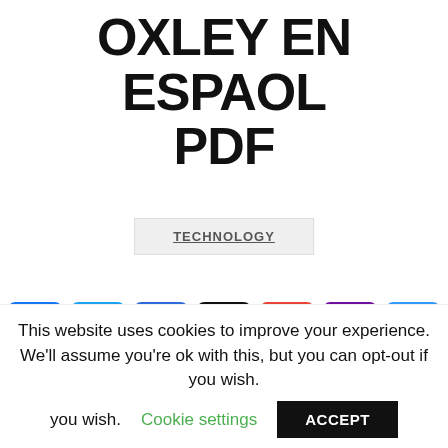OXLEY EN ESPAOL PDF
TECHNOLOGY
[Figure (infographic): Social share buttons: Facebook, Twitter, Email, AOL, Gmail, Yahoo, Add/Plus]
Is the Sarbanes-Oxley Act a friend or foe
This website uses cookies to improve your experience. We'll assume you're ok with this, but you can opt-out if you wish.
Cookie settings
ACCEPT